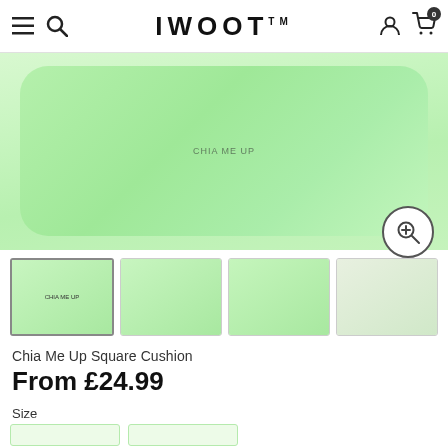IWOOT
[Figure (photo): Large mint green square cushion with 'Chia Me Up' text, displayed on a light grey background]
[Figure (photo): Four thumbnail images of the Chia Me Up Square Cushion from different angles]
Chia Me Up Square Cushion
From £24.99
Size